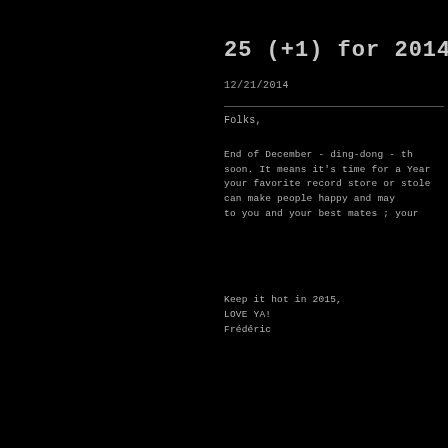25 (+1) for 2014
12/21/2014
Folks,
End of December - ding-dong - th soon. It means it's time for a Year your favorite record store or stole can make people happy and may to you and your best mates ; your Keep it hot in 2015, LOVE YA! Frédéric